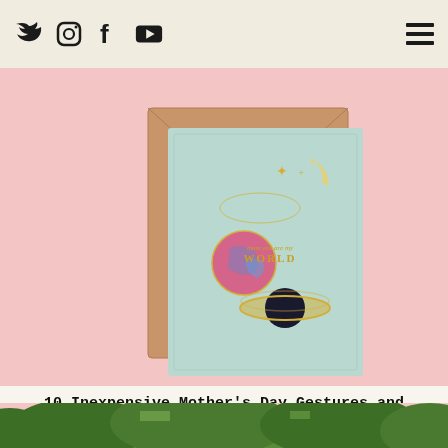[Social icons: Twitter, Instagram, Facebook, YouTube] [Hamburger menu]
[Figure (photo): A mint green greeting card with celestial space theme (crescent moon, star, planet Earth, Saturn) on gold foil, leaning against a brown kraft envelope, set on a pink background. Card text reads 'mum you are my WORLD'.]
10 Inexpensive Mother's Day Gestures and Gifts
[Figure (photo): Partial view of lush green trees/nature scene at the bottom of the page.]